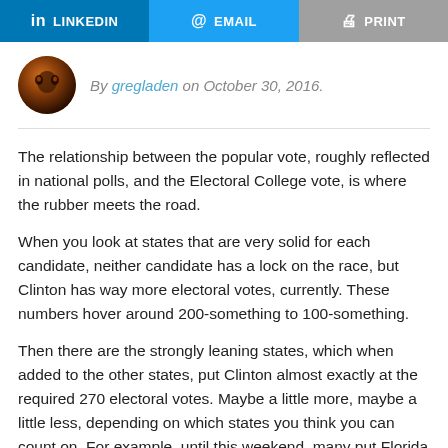[Figure (other): Social share bar with LinkedIn, Email, and Print buttons]
By gregladen on October 30, 2016.
The relationship between the popular vote, roughly reflected in national polls, and the Electoral College vote, is where the rubber meets the road.
When you look at states that are very solid for each candidate, neither candidate has a lock on the race, but Clinton has way more electoral votes, currently. These numbers hover around 200-something to 100-something.
Then there are the strongly leaning states, which when added to the other states, put Clinton almost exactly at the required 270 electoral votes. Maybe a little more, maybe a little less, depending on which states you think you can count on. For example, until this weekend, many put Florida in this second category, but Florida is now looking more like a Trump state.